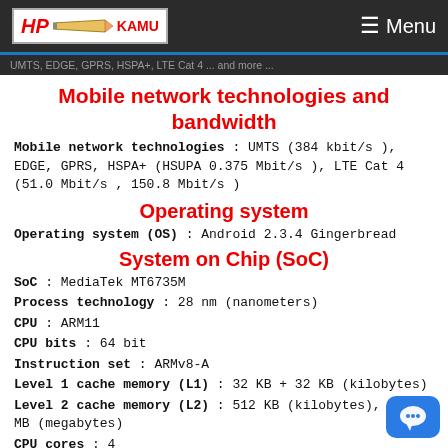HP KAMU | Menu
UMTS, EDGE, GPRS, HSPA+, LTE Cat 4 ... and more ...
Mobile network technologies and bandwidth
Mobile network technologies : UMTS (384 kbit/s ), EDGE, GPRS, HSPA+ (HSUPA 0.375 Mbit/s ), LTE Cat 4 (51.0 Mbit/s , 150.8 Mbit/s )
Operating system
Operating system (OS) : Android 2.3.4 Gingerbread
System on Chip (SoC)
SoC : MediaTek MT6735M
Process technology : 28 nm (nanometers)
CPU : ARM11
CPU bits : 64 bit
Instruction set : ARMv8-A
Level 1 cache memory (L1) : 32 KB + 32 KB (kilobytes)
Level 2 cache memory (L2) : 512 KB (kilobytes), 0.5 MB (megabytes)
CPU cores : 4